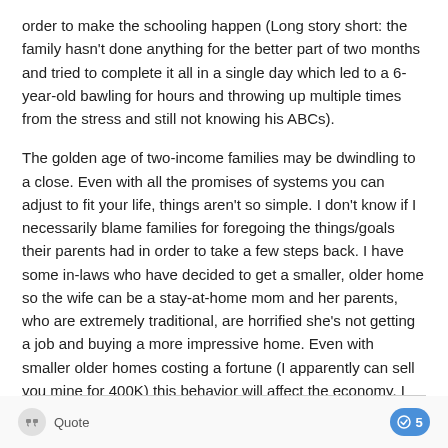order to make the schooling happen (Long story short: the family hasn't done anything for the better part of two months and tried to complete it all in a single day which led to a 6-year-old bawling for hours and throwing up multiple times from the stress and still not knowing his ABCs).
The golden age of two-income families may be dwindling to a close. Even with all the promises of systems you can adjust to fit your life, things aren't so simple. I don't know if I necessarily blame families for foregoing the things/goals their parents had in order to take a few steps back. I have some in-laws who have decided to get a smaller, older home so the wife can be a stay-at-home mom and her parents, who are extremely traditional, are horrified she's not getting a job and buying a more impressive home. Even with smaller older homes costing a fortune (I apparently can sell you mine for 400K) this behavior will affect the economy. I like to think, in time, our economy will adjust, but it certainly is far more systemic than many want to admit.
Quote   5